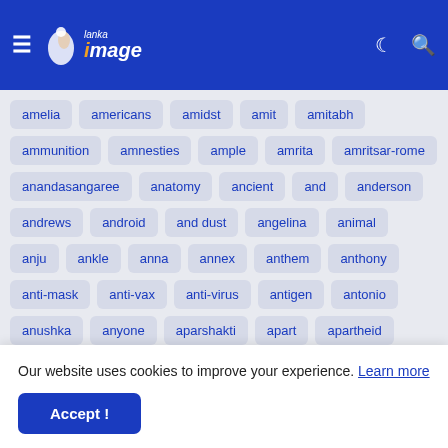[Figure (logo): Lanka Image website header/navbar with hamburger menu, logo, moon icon, and search icon on blue background]
amelia
americans
amidst
amit
amitabh
ammunition
amnesties
ample
amrita
amritsar-rome
anandasangaree
anatomy
ancient
and
anderson
andrews
android
and dust
angelina
animal
anju
ankle
anna
annex
anthem
anthony
anti-mask
anti-vax
anti-virus
antigen
antonio
anushka
anyone
aparshakti
apart
apartheid
apidm
apologises
apologists
Our website uses cookies to improve your experience. Learn more
Accept !